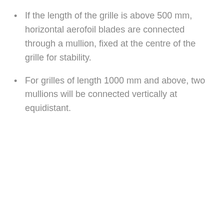If the length of the grille is above 500 mm, horizontal aerofoil blades are connected through a mullion, fixed at the centre of the grille for stability.
For grilles of length 1000 mm and above, two mullions will be connected vertically at equidistant.